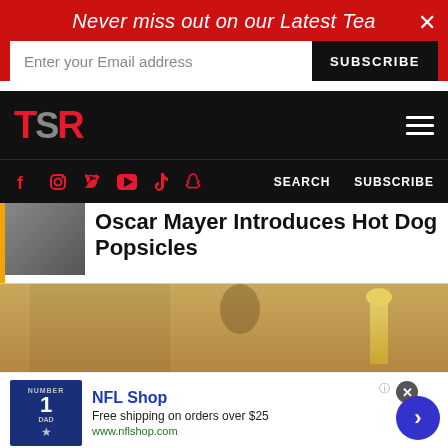Never miss out on our Latest Tea
Enter your Email address
SUBSCRIBE
[Figure (logo): TSR logo in red with hamburger menu icon on black background]
SEARCH   SUBSCRIBE
Oscar Mayer Introduces Hot Dog Popsicles
[Figure (photo): Woman at what appears to be an awards ceremony, wearing jewelry, with short bleached hair, smiling]
NFL Shop
Free shipping on orders over $25
www.nflshop.com